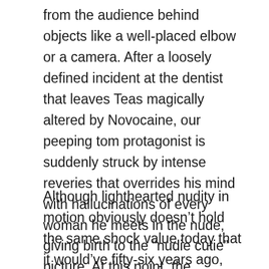from the audience behind objects like a well-placed elbow or a camera. After a loosely defined incident at the dentist that leaves Teas magically altered by Novocaine, our peeping tom protagonist is suddenly struck by intense reveries that overrides his mind with hallucinations of every woman he meets in the nude, giving birth to the “nudie cutie” picture. At this point, the narration fades a great deal, leaving us alone with a shrill, accordion-heavy soundtrack & what will eventually become Meyer’s onscreen calling cards: insane editing choices & strikingly large breasts.
Although lighthearted nudity in motion obviously doesn’t hold the same shock value today that it would’ve fifty-six years ago, there’s plenty of jarring weirdness to The Immoral Mr, Teas that makes it worthwhile as a